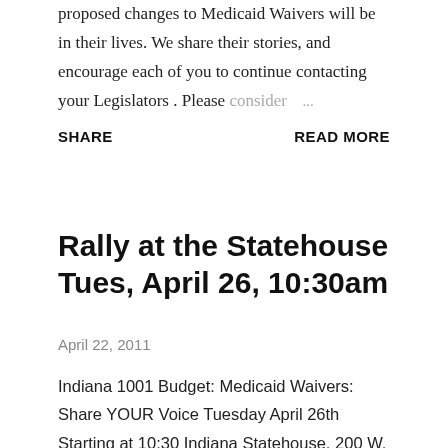proposed changes to Medicaid Waivers will be in their lives. We share their stories, and encourage each of you to continue contacting your Legislators . Please consider ...
SHARE    READ MORE
Rally at the Statehouse Tues, April 26, 10:30am
April 22, 2011
Indiana 1001 Budget: Medicaid Waivers: Share YOUR Voice Tuesday April 26th Starting at 10:30 Indiana Statehouse, 200 W. Washington St., Indianapolis The Indiana House and Senate are considering a Senate amendment to HB1001 ...